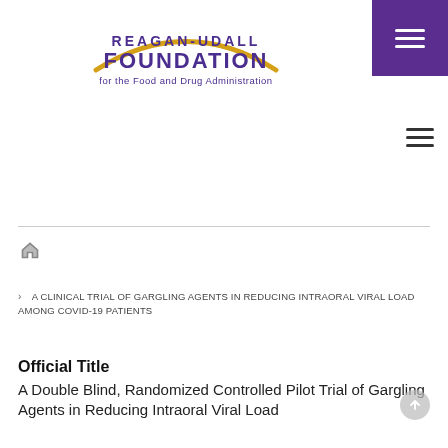[Figure (logo): Reagan-Udall Foundation for the Food and Drug Administration logo with golden arc and purple text]
A CLINICAL TRIAL OF GARGLING AGENTS IN REDUCING INTRAORAL VIRAL LOAD AMONG COVID-19 PATIENTS
Official Title
A Double Blind, Randomized Controlled Pilot Trial of Gargling Agents in Reducing Intraoral Viral Load